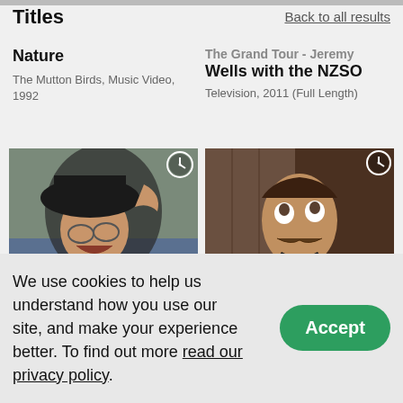Titles
Back to all results
Nature
The Mutton Birds, Music Video, 1992
The Grand Tour - Jeremy Wells with the NZSO
Television, 2011 (Full Length)
[Figure (photo): Video thumbnail: person in black hat laughing outdoors near water, with clock/duration icon]
[Figure (photo): Video thumbnail: man with mustache in formal attire indoors, with clock/duration icon]
Made in New Zealand - Margaret Mahy
The Longest Winter - Early Days
We use cookies to help us understand how you use our site, and make your experience better. To find out more read our privacy policy.
Accept